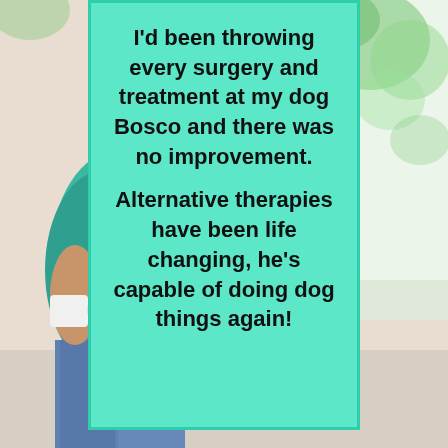[Figure (photo): Background photo of a woman with long brown hair wearing a teal/green top and jeans, sitting and holding a white mug. Bright window with green plants visible in background. Warm, light interior setting.]
I'd been throwing every surgery and treatment at my dog Bosco and there was no improvement. Alternative therapies have been life changing, he's capable of doing dog things again!